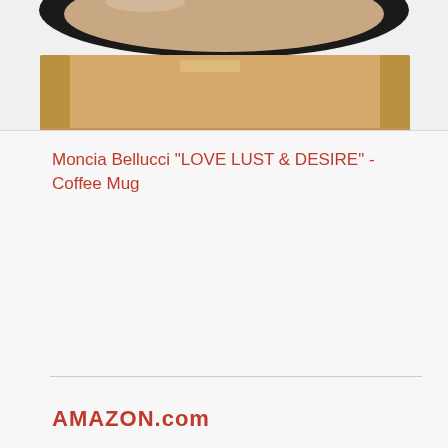[Figure (photo): Top portion of a coffee mug with black rim and brown/beige body, cropped at the top of the page]
Moncia Bellucci "LOVE LUST & DESIRE" - Coffee Mug
AMAZON.com